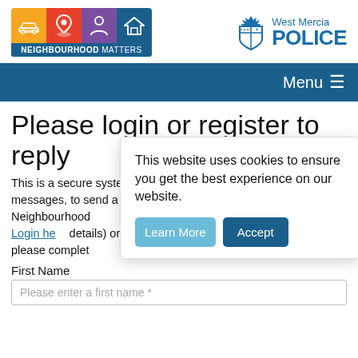[Figure (logo): Neighbourhood Matters logo with coloured icons for car, location pin, person, and house, with blue label bar below]
[Figure (logo): West Mercia Police logo with shield crest and blue text]
[Figure (screenshot): Dark blue navigation bar with Menu hamburger icon on the right]
Please login or register to reply
This is a secure system for replying to messages, to send a reply you must be a registered Neighbourhood Matters user. If you are already registered please Login here (using your email address and password details) or, to register as a new user for the first time please complete the form below.
This website uses cookies to ensure you get the best experience on our website.
First Name
Please enter a first name *